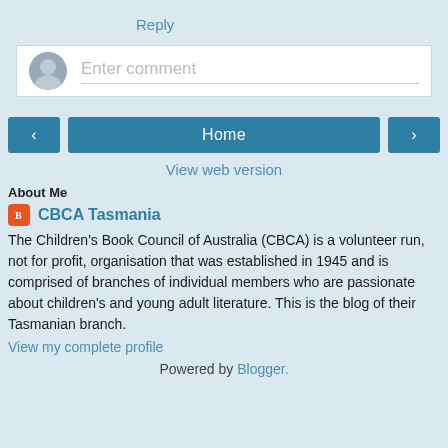Reply
[Figure (screenshot): Comment input box with avatar placeholder and 'Enter comment' placeholder text]
[Figure (screenshot): Navigation row with left arrow button, Home button, and right arrow button]
View web version
About Me
CBCA Tasmania
The Children's Book Council of Australia (CBCA) is a volunteer run, not for profit, organisation that was established in 1945 and is comprised of branches of individual members who are passionate about children's and young adult literature. This is the blog of their Tasmanian branch.
View my complete profile
Powered by Blogger.